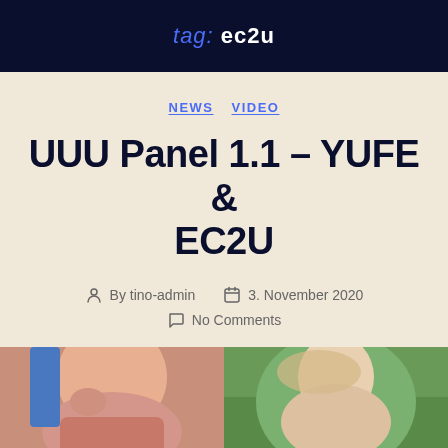tag: ec2u
NEWS  VIDEO
UUU Panel 1.1 – YUFE & EC2U
By tino-admin   3. November 2020   No Comments
[Figure (photo): Two portrait photos side by side at the bottom of the page]